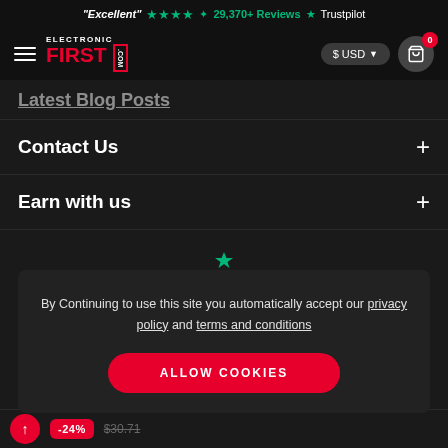"Excellent" ★★★★½ 29,370+ Reviews Trustpilot
[Figure (screenshot): ElectronicFirst.com logo with red FIRST text and bordered .com label]
Latest Blog Posts
Contact Us +
Earn with us +
By Continuing to use this site you automatically accept our privacy policy and terms and conditions
ALLOW COOKIES
-24% $30.71